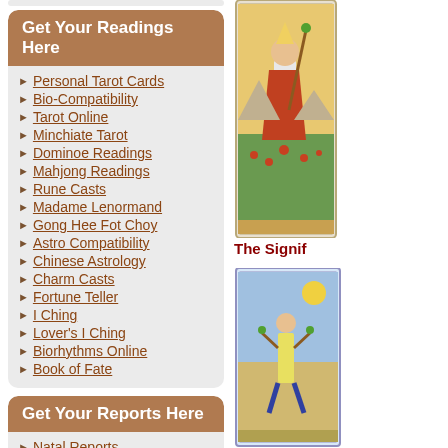Get Your Readings Here
Personal Tarot Cards
Bio-Compatibility
Tarot Online
Minchiate Tarot
Dominoe Readings
Mahjong Readings
Rune Casts
Madame Lenormand
Gong Hee Fot Choy
Astro Compatibility
Chinese Astrology
Charm Casts
Fortune Teller
I Ching
Lover's I Ching
Biorhythms Online
Book of Fate
[Figure (illustration): Tarot card image on right side, partial view]
Get Your Reports Here
Natal Reports
Numerology Reports
The Signif
[Figure (illustration): Second tarot card image, partial view at bottom right]